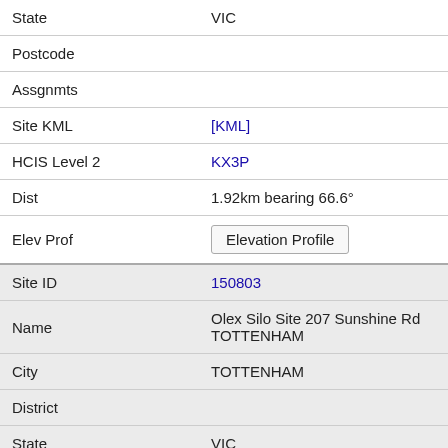| Field | Value |
| --- | --- |
| State | VIC |
| Postcode |  |
| Assgnmts |  |
| Site KML | [KML] |
| HCIS Level 2 | KX3P |
| Dist | 1.92km bearing 66.6° |
| Elev Prof | Elevation Profile |
| Site ID | 150803 |
| Name | Olex Silo Site 207 Sunshine Rd TOTTENHAM |
| City | TOTTENHAM |
| District |  |
| State | VIC |
| Postcode | 3012 |
| Assgnmts |  |
| Site KML | [KML] |
| HCIS Level 2 | KX3P |
| Dist | 1.93km bearing 272.8° |